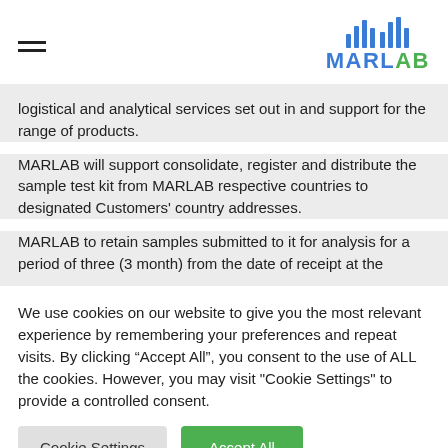MARLAB
logistical and analytical services set out in and support for the range of products.
MARLAB will support consolidate, register and distribute the sample test kit from MARLAB respective countries to designated Customers' country addresses.
MARLAB to retain samples submitted to it for analysis for a period of three (3 month) from the date of receipt at the
We use cookies on our website to give you the most relevant experience by remembering your preferences and repeat visits. By clicking "Accept All", you consent to the use of ALL the cookies. However, you may visit "Cookie Settings" to provide a controlled consent.
Cookie Settings | Accept All